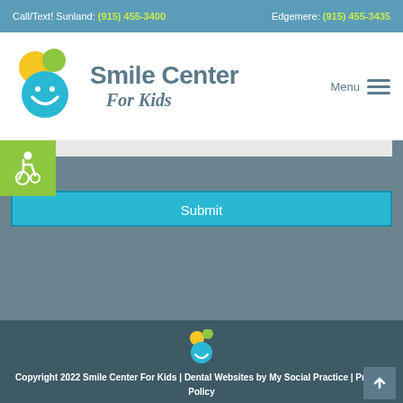Call/Text! Sunland: (915) 455-3400   Edgemere: (915) 455-3435
[Figure (logo): Smile Center For Kids logo with colorful circles (yellow, green, blue with smile) and text]
Menu
[Figure (illustration): Accessibility (wheelchair) icon in green box]
Submit
[Figure (logo): Small Smile Center For Kids footer logo]
Copyright 2022 Smile Center For Kids | Dental Websites by My Social Practice | Privacy Policy